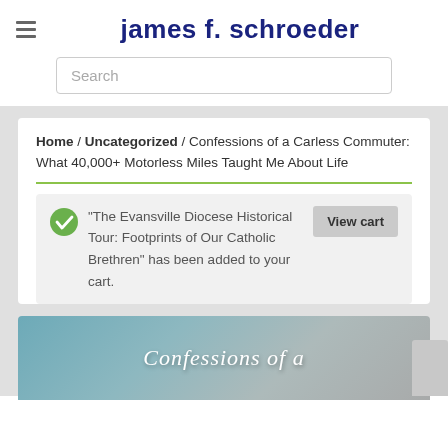james f. schroeder
Search
Home / Uncategorized / Confessions of a Carless Commuter: What 40,000+ Motorless Miles Taught Me About Life
“The Evansville Diocese Historical Tour: Footprints of Our Catholic Brethren” has been added to your cart.
View cart
[Figure (illustration): Partial book cover showing cursive text 'Confessions of a' on a teal/grey gradient background]